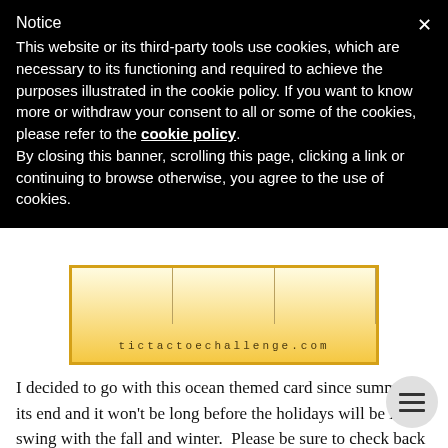Notice
This website or its third-party tools use cookies, which are necessary to its functioning and required to achieve the purposes illustrated in the cookie policy. If you want to know more or withdraw your consent to all or some of the cookies, please refer to the cookie policy.
By closing this banner, scrolling this page, clicking a link or continuing to browse otherwise, you agree to the use of cookies.
[Figure (logo): Banner/logo area showing tictactoechallenge.com in a gold/yellow gradient rectangle with vertical bar dividers]
I decided to go with this ocean themed card since summe its end and it won't be long before the holidays will be in swing with the fall and winter.  Please be sure to check back in a couple of days for my first post with Christmas card inspiration on 9/2/17.  Better yet, follow my blog so you won't